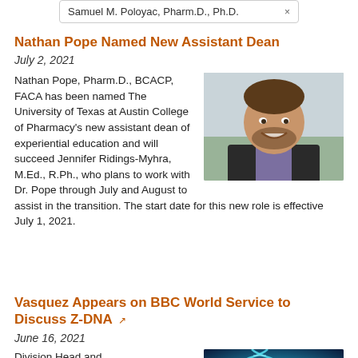Samuel M. Poloyac, Pharm.D., Ph.D. ×
Nathan Pope Named New Assistant Dean
July 2, 2021
[Figure (photo): Headshot of Nathan Pope, a man smiling, wearing a suit with purple shirt, indoor background.]
Nathan Pope, Pharm.D., BCACP, FACA has been named The University of Texas at Austin College of Pharmacy's new assistant dean of experiential education and will succeed Jennifer Ridings-Myhra, M.Ed., R.Ph., who plans to work with Dr. Pope through July and August to assist in the transition. The start date for this new role is effective July 1, 2021.
Vasquez Appears on BBC World Service to Discuss Z-DNA
June 16, 2021
[Figure (photo): Blue-toned image of a DNA double helix structure on a dark background.]
Division Head and